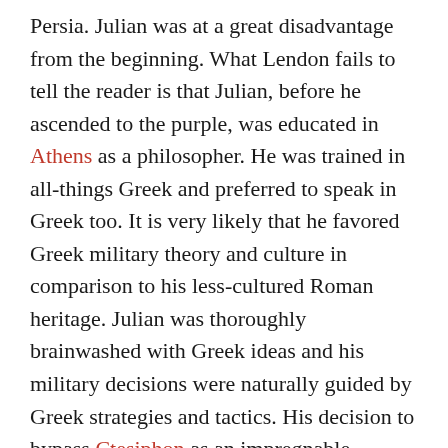Persia. Julian was at a great disadvantage from the beginning. What Lendon fails to tell the reader is that Julian, before he ascended to the purple, was educated in Athens as a philosopher. He was trained in all-things Greek and preferred to speak in Greek too. It is very likely that he favored Greek military theory and culture in comparison to his less-cultured Roman heritage. Julian was thoroughly brainwashed with Greek ideas and his military decisions were naturally guided by Greek strategies and tactics. His decision to bypass Ctesiphon as an impregnable bulwark, though Roman commanders had successfully laid siege to it in the past, and burn his baggage train on the river were two costly mistakes that would ensure his untimely demise. These decisions must have been weighed by Julian, who like Marcus Aurelius